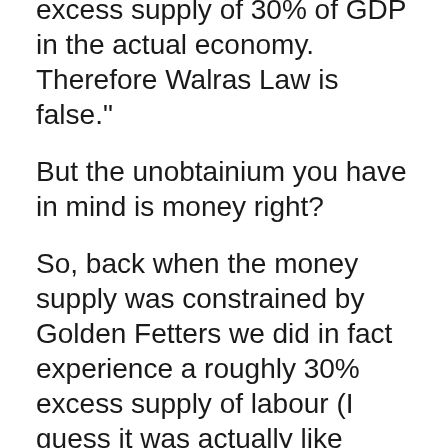excess supply of 30% of GDP in the actual economy. Therefore Walras Law is false."
But the unobtainium you have in mind is money right?
So, back when the money supply was constrained by Golden Fetters we did in fact experience a roughly 30% excess supply of labour (I guess it was actually like 25%).
Now that we can supply as much liquidity as we want we don't see that anymore.
Perhaps Walras' Law holds in reality and we've simply gotten